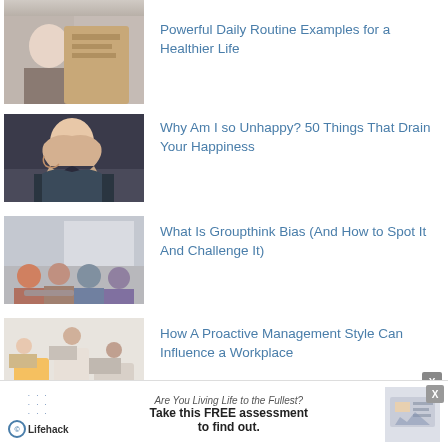[Figure (photo): Partial top image - person looking at paper, cropped at top]
Powerful Daily Routine Examples for a Healthier Life
[Figure (photo): Woman in patterned sweater looking distressed, hands on head]
Why Am I so Unhappy? 50 Things That Drain Your Happiness
[Figure (photo): Group of people sitting in a room meeting setting near windows]
What Is Groupthink Bias (And How to Spot It And Challenge It)
[Figure (photo): People in a bright office/meeting room setting]
How A Proactive Management Style Can Influence a Workplace
[Figure (screenshot): Advertisement banner: Lifehack - Are You Living Life to the Fullest? Take this FREE assessment to find out.]